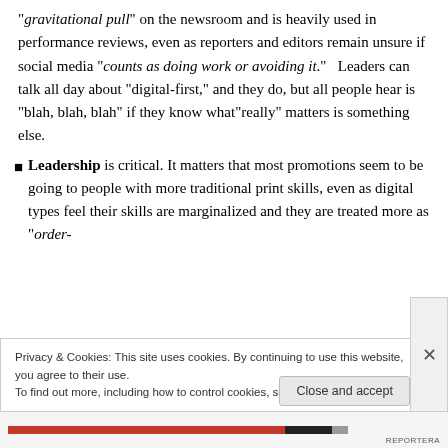“gravitational pull” on the newsroom and is heavily used in performance reviews, even as reporters and editors remain unsure if social media “counts as doing work or avoiding it.”   Leaders can talk all day about “digital-first,” and they do, but all people hear is “blah, blah, blah” if they know what”really” matters is something else.
Leadership is critical. It matters that most promotions seem to be going to people with more traditional print skills, even as digital types feel their skills are marginalized and they are treated more as “order-
Privacy & Cookies: This site uses cookies. By continuing to use this website, you agree to their use.
To find out more, including how to control cookies, see here: Cookie Policy